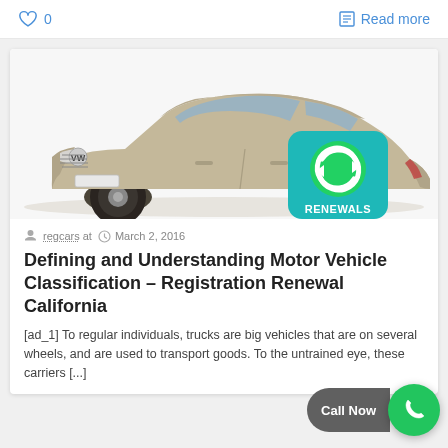♡ 0
Read more
[Figure (photo): Volkswagen Passat sedan (silver/champagne color) with a teal/green square icon overlay showing circular renewal arrows and the text 'RENEWALS' at the bottom of the icon]
regcars at   March 2, 2016
Defining and Understanding Motor Vehicle Classification – Registration Renewal California
[ad_1] To regular individuals, trucks are big vehicles that are on several wheels, and are used to transport goods. To the untrained eye, these carriers [...]